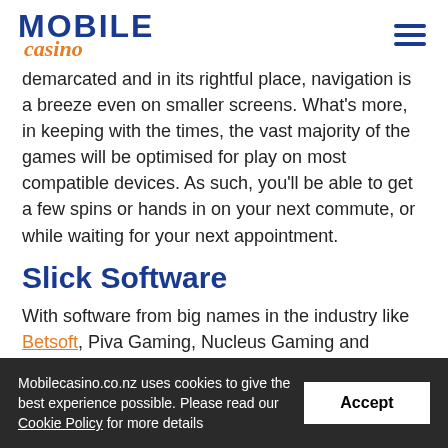MOBILE casino
demarcated and in its rightful place, navigation is a breeze even on smaller screens. What's more, in keeping with the times, the vast majority of the games will be optimised for play on most compatible devices. As such, you'll be able to get a few spins or hands in on your next commute, or while waiting for your next appointment.
Slick Software
With software from big names in the industry like Betsoft, Piva Gaming, Nucleus Gaming and Visionary
Mobilecasino.co.nz uses cookies to give the best experience possible. Please read our Cookie Policy for more details